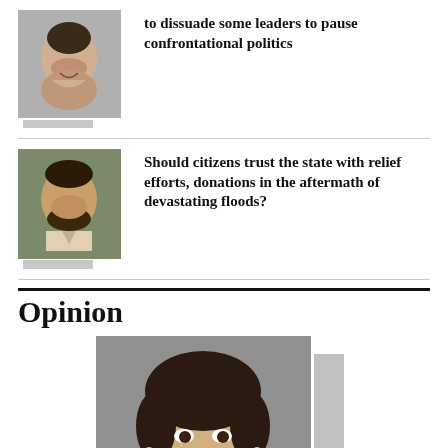[Figure (photo): Small portrait photo of a woman smiling, with gray tab below]
to dissuade some leaders to pause confrontational politics
[Figure (photo): Small portrait photo of a man with beard, with gray tab below]
Should citizens trust the state with relief efforts, donations in the aftermath of devastating floods?
Opinion
[Figure (photo): Large portrait photo of a woman smiling, with gray tab to the right]